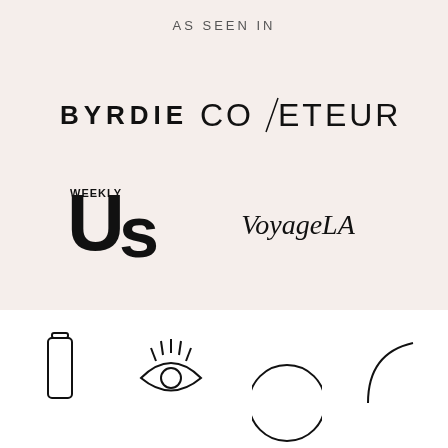AS SEEN IN
[Figure (logo): BYRDIE logo in bold black uppercase letters]
[Figure (logo): COVETEUR logo in black uppercase letters with a diagonal slash between CO and ETEUR]
[Figure (logo): Us Weekly logo in large bold black letters with WEEKLY in small text]
[Figure (logo): VoyageLA logo in italic serif black letters]
[Figure (illustration): Bottom white section with partial decorative line-art icons: a bottle/vial, an eye with lashes, a circular face outline, and a partial circle]